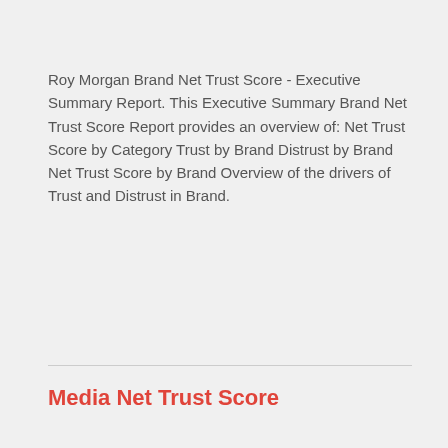Roy Morgan Brand Net Trust Score - Executive Summary Report. This Executive Summary Brand Net Trust Score Report provides an overview of:  Net Trust Score by Category Trust by Brand Distrust by Brand Net Trust Score by Brand Overview of the drivers of Trust and Distrust in Brand.
Read More
Media Net Trust Score